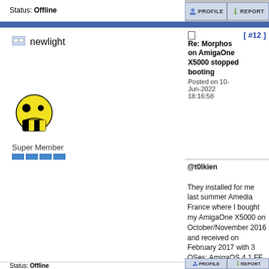Status: Offline
newlight
[Figure (illustration): Pixel art smiley face with skull/skeleton lower jaw, yellow and black]
Super Member
Joined: 10-Sep-2007
Posts: 1901
From: Somewhere in Spain
Re: Morphos on AmigaOne X5000 stopped booting
Posted on 10-Jun-2022 18:16:58
[ #12 ]
@t0lkien

They installed for me last summer Amedia France where I bought my AmigaOne X5000 on October/November 2016 and received on February 2017 with 3 OSes: AmigaOS 4.1 FE Update 2,Morphos and Fienix.
AMIGA 500 1.5 MB
ACA500/ACA1232 accelerators
AMIGA 500 German
CD32 unexpanded
Amiga 1200 Tower on AmigaKit since years
AMIGA 1300 030/50 Mhz/32 MB WB 3.9 with lots of games&demos
AMIGA ONE XE G3 PPC 800 Mhz/1 GB RAM/RADEON 9250 128 MB/SATA CONTROLLER
Status: Offline